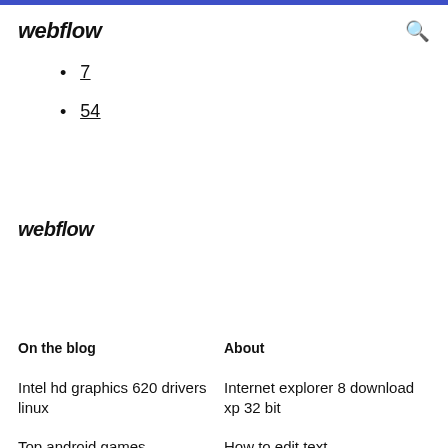webflow
7
54
webflow
On the blog
About
Intel hd graphics 620 drivers linux
Internet explorer 8 download xp 32 bit
Top android games
How to edit text